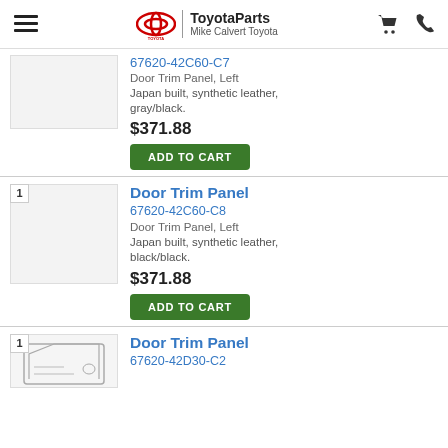ToyotaParts Mike Calvert Toyota
67620-42C60-C7
Door Trim Panel, Left
Japan built, synthetic leather, gray/black.
$371.88
ADD TO CART
Door Trim Panel
67620-42C60-C8
Door Trim Panel, Left
Japan built, synthetic leather, black/black.
$371.88
ADD TO CART
Door Trim Panel
67620-42D30-C2